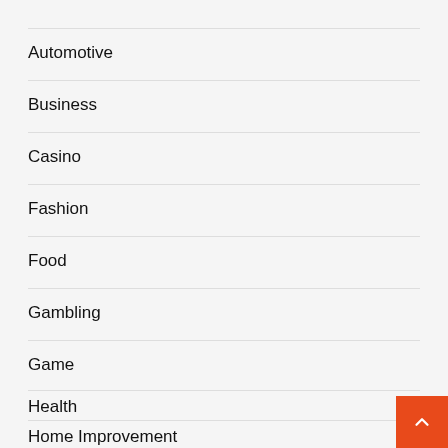Automotive
Business
Casino
Fashion
Food
Gambling
Game
Health
Home Improvement